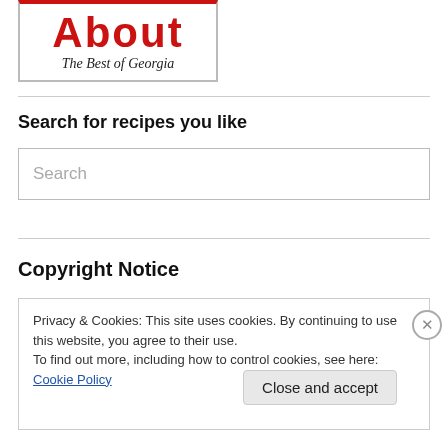[Figure (logo): Logo reading 'About The Best of Georgia' in red bold text with italic serif tagline, in a bordered box]
Search for recipes you like
Search
Copyright Notice
Privacy & Cookies: This site uses cookies. By continuing to use this website, you agree to their use.
To find out more, including how to control cookies, see here: Cookie Policy
Close and accept